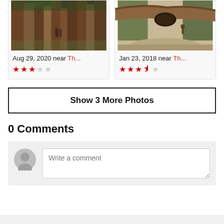[Figure (photo): Photo card showing tall sequoia/redwood trees in a forest, dated Aug 29, 2020 near Th... with 3-star rating]
[Figure (photo): Photo card showing a large fallen log forming a tunnel over a road, dated Jan 23, 2018 near Th... with 3.5-star rating]
Show 3 More Photos
0 Comments
Write a comment